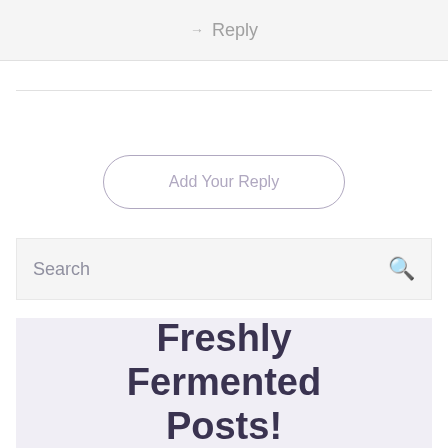Reply
Add Your Reply
Search
Freshly Fermented Posts!